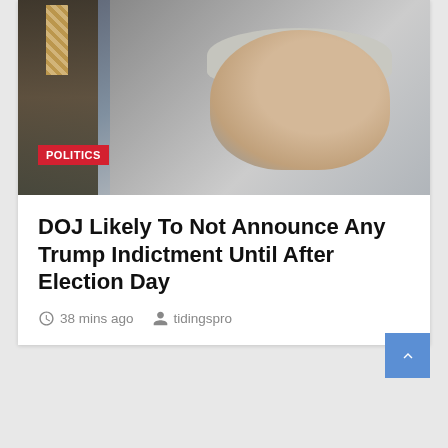[Figure (photo): A gray-haired man in a gray suit with glasses seated at what appears to be a hearing or official proceeding, with an American flag visible in the background and another person visible to the left wearing a patterned tie.]
POLITICS
DOJ Likely To Not Announce Any Trump Indictment Until After Election Day
38 mins ago   tidingspro